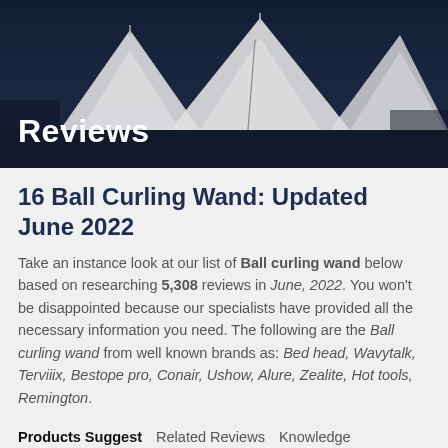[Figure (photo): Dark night scene with white teepee/tent structures illuminated against a dark blue sky, with header text 'Reviews' overlaid in white]
16 Ball Curling Wand: Updated June 2022
Take an instance look at our list of Ball curling wand below based on researching 5,308 reviews in June, 2022. You won't be disappointed because our specialists have provided all the necessary information you need. The following are the Ball curling wand from well known brands as: Bed head, Wavytalk, Terviiix, Bestope pro, Conair, Ushow, Alure, Zealite, Hot tools, Remington.
Products Suggest   Related Reviews   Knowledge
By Amy Rodriguez